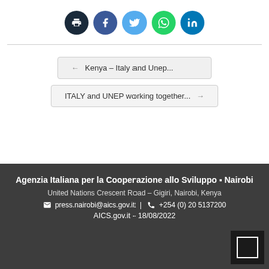[Figure (infographic): Row of 5 circular social sharing buttons: print (dark navy), Facebook (dark blue), Twitter (light blue), WhatsApp (green), LinkedIn (teal/blue)]
← Kenya – Italy and Unep...
ITALY and UNEP working together... →
Agenzia Italiana per la Cooperazione allo Sviluppo • Nairobi
United Nations Crescent Road – Gigiri, Nairobi, Kenya
✉ press.nairobi@aics.gov.it | 📞 +254 (0) 20 5137200
AICS.gov.it - 18/08/2022